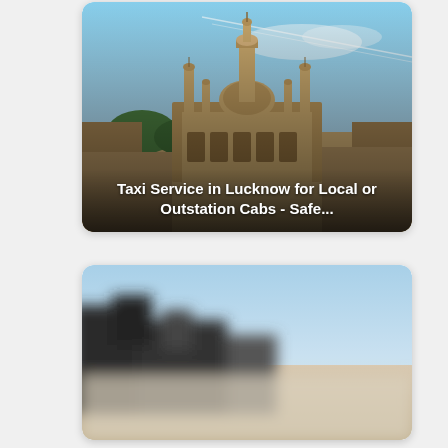[Figure (photo): Aerial view of Lucknow city showing historic mosque/monument with tall minarets and ornate architecture, trees and cityscape in background under blue sky with jet contrails. Text overlay reads: Taxi Service in Lucknow for Local or Outstation Cabs - Safe...]
[Figure (photo): Blurred outdoor photo showing dark silhouetted objects/buildings on left, pale sandy/misty ground, and blue sky. Image is heavily blurred/out of focus.]